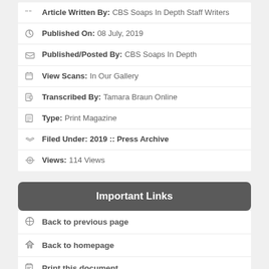Article Written By: CBS Soaps In Depth Staff Writers
Published On: 08 July, 2019
Published/Posted By: CBS Soaps In Depth
View Scans: In Our Gallery
Transcribed By: Tamara Braun Online
Type: Print Magazine
Filed Under: 2019 :: Press Archive
Views: 114 Views
Important Links
Back to previous page
Back to homepage
Print this document